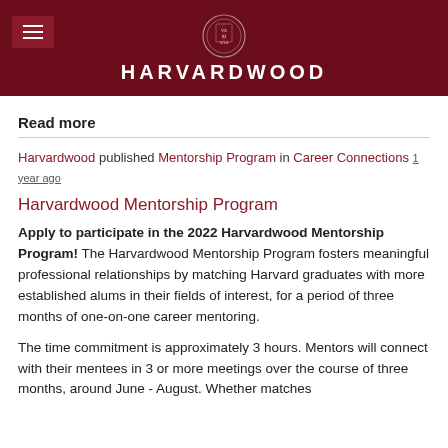HARVARDWOOD
Read more
Harvardwood published Mentorship Program in Career Connections 1 year ago
Harvardwood Mentorship Program
Apply to participate in the 2022 Harvardwood Mentorship Program! The Harvardwood Mentorship Program fosters meaningful professional relationships by matching Harvard graduates with more established alums in their fields of interest, for a period of three months of one-on-one career mentoring.
The time commitment is approximately 3 hours. Mentors will connect with their mentees in 3 or more meetings over the course of three months, around June - August. Whether matches